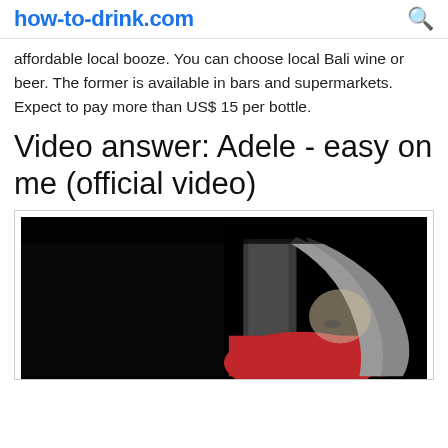how-to-drink.com
affordable local booze. You can choose local Bali wine or beer. The former is available in bars and supermarkets. Expect to pay more than US$ 15 per bottle.
Video answer: Adele - easy on me (official video)
[Figure (photo): Video thumbnail showing a black and white image of a woman with long hair, wearing red, partially visible, with a dark background.]